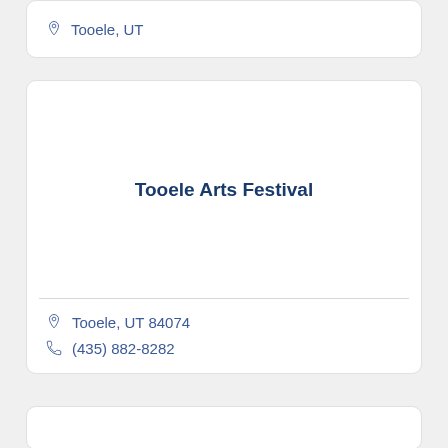Tooele, UT
Tooele Arts Festival
Tooele, UT 84074
(435) 882-8282